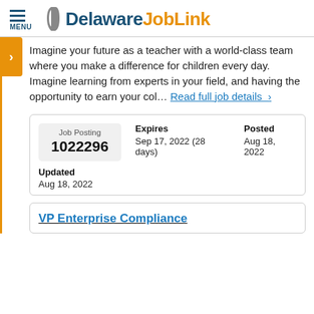Delaware JobLink
Imagine your future as a teacher with a world-class team where you make a difference for children every day. Imagine learning from experts in your field, and having the opportunity to earn your col… Read full job details >
| Job Posting | Expires | Posted |
| --- | --- | --- |
| 1022296 | Sep 17, 2022 (28 days) | Aug 18, 2022 |
Updated
Aug 18, 2022
VP Enterprise Compliance